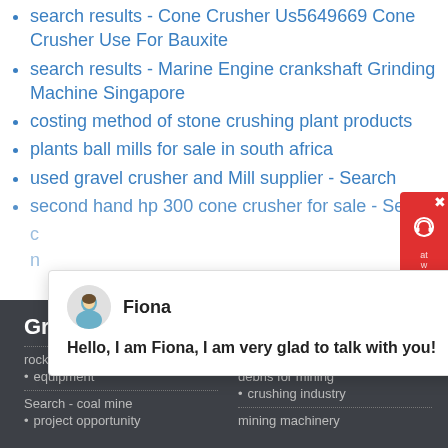search results - Cone Crusher Us5649669 Cone Crusher Use For Bauxite
search results - Marine Engine crankshaft Grinding Machine Singapore
costing method of stone crushing plant products
plants ball mills for sale in south africa
used gravel crusher and Mill supplier - Search
second hand hp 300 cone crusher for sale - Search
[Figure (screenshot): Chat popup with avatar of Fiona and message: Hello, I am Fiona, I am very glad to talk with you!]
[Figure (screenshot): Red support widget button on right side with X close icon and headset icon]
Grinding Mill
CASE
rock rotter excavation equipment
Search - coal mine project opportunity
1214 mobile crusher plant for debris for mining crushing industry
mining machinery